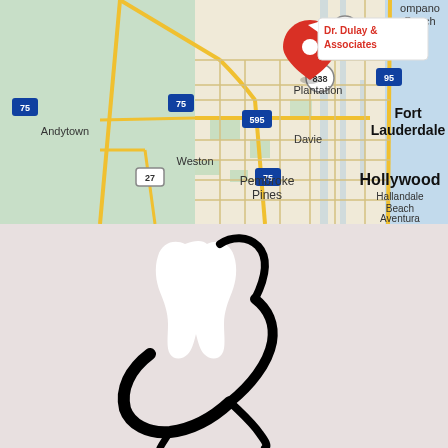[Figure (map): Google Maps view showing the Fort Lauderdale area in South Florida. A red location pin marks 'Dr. Dulay & Associates' near the top center. The map shows cities including Andytown, Weston, Sunrise, Plantation, Davie, Pembroke Pines, Fort Lauderdale, Hollywood, Hallandale Beach, and Aventura. Interstate highways 75, 95, 595, 845, 838, and route 27 are visible.]
[Figure (logo): Dental practice logo showing a white tooth shape with a black decorative swirl/flourish design around it, set against a light gray background.]